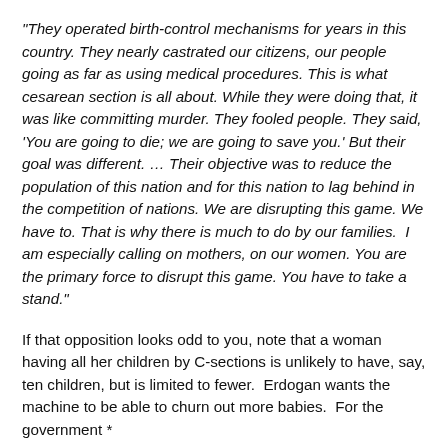“They operated birth-control mechanisms for years in this country. They nearly castrated our citizens, our people going as far as using medical procedures. This is what cesarean section is all about. While they were doing that, it was like committing murder. They fooled people. They said, ‘You are going to die; we are going to save you.’ But their goal was different. … Their objective was to reduce the population of this nation and for this nation to lag behind in the competition of nations. We are disrupting this game. We have to. That is why there is much to do by our families.  I am especially calling on mothers, on our women. You are the primary force to disrupt this game. You have to take a stand.”
If that opposition looks odd to you, note that a woman having all her children by C-sections is unlikely to have, say, ten children, but is limited to fewer.  Erdogan wants the machine to be able to churn out more babies.  For the government *